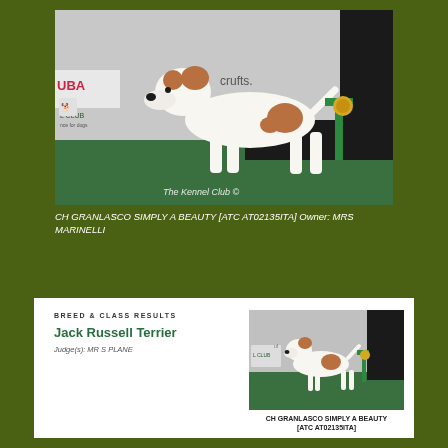[Figure (photo): A Jack Russell Terrier dog standing in show pose on a green carpet at Crufts dog show. A person in black clothing is holding a green rosette/ribbon. Kennel Club and Crufts branding visible in background. Watermark: The Kennel Club ©]
CH GRANLASCO SIMPLY A BEAUTY [ATC AT02135ITA] Owner: MRS MARINELLI
[Figure (photo): Small thumbnail photo of CH GRANLASCO SIMPLY A BEAUTY [ATC AT02135ITA] — a Jack Russell Terrier in show stance with green rosette, at Crufts.]
BREED & CLASS RESULTS
Jack Russell Terrier
Judge(s): MR S PLANE
CH GRANLASCO SIMPLY A BEAUTY [ATC AT02135ITA]